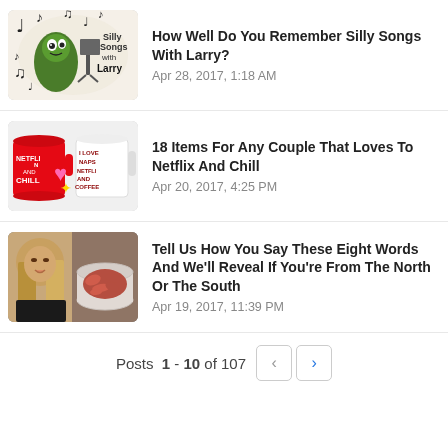[Figure (illustration): Thumbnail for 'Silly Songs With Larry' showing the VeggieTales Larry the Cucumber character with musical notes and the text 'Silly Songs with Larry']
How Well Do You Remember Silly Songs With Larry?
Apr 28, 2017, 1:18 AM
[Figure (photo): Thumbnail showing two mugs — a red Netflix and Chill mug and a white mug saying 'I Love Naps Netflix and Coffee', with a pink heart and sparkle emoji]
18 Items For Any Couple That Loves To Netflix And Chill
Apr 20, 2017, 4:25 PM
[Figure (photo): Thumbnail with two photos side by side: a woman with long highlighted hair on the left, and a white bowl of red crawfish on the right]
Tell Us How You Say These Eight Words And We'll Reveal If You're From The North Or The South
Apr 19, 2017, 11:39 PM
Posts 1 - 10 of 107